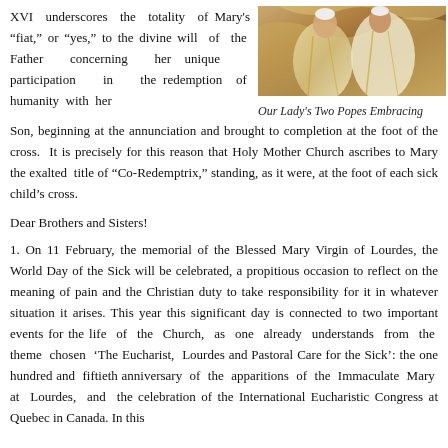XVI underscores the totality of Mary's “fiat,” or “yes,” to the divine will of the Father concerning her unique participation in the redemption of humanity with her Son, beginning at the annunciation and brought to completion at the foot of the cross. It is precisely for this reason that Holy Mother Church ascribes to Mary the exalted title of “Co-Redemptrix,” standing, as it were, at the foot of each sick child’s cross.
[Figure (photo): Photo of two popes embracing, with golden/white liturgical vestments visible]
Our Lady's Two Popes Embracing
Dear Brothers and Sisters!
1. On 11 February, the memorial of the Blessed Mary Virgin of Lourdes, the World Day of the Sick will be celebrated, a propitious occasion to reflect on the meaning of pain and the Christian duty to take responsibility for it in whatever situation it arises. This year this significant day is connected to two important events for the life of the Church, as one already understands from the theme chosen ‘The Eucharist, Lourdes and Pastoral Care for the Sick’: the one hundred and fiftieth anniversary of the apparitions of the Immaculate Mary at Lourdes, and the celebration of the International Eucharistic Congress at Quebec in Canada. In this